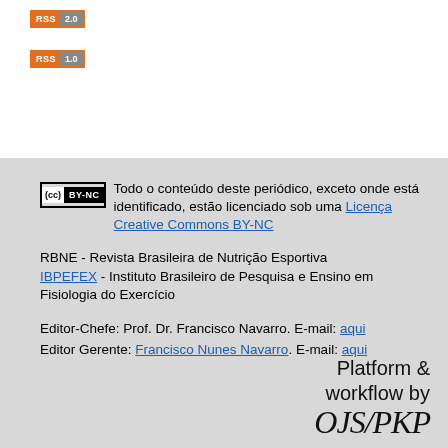[Figure (logo): RSS 2.0 badge with orange RSS label and grey 2.0]
[Figure (logo): RSS 1.0 badge with orange RSS label and grey 1.0]
Todo o conteúdo deste periódico, exceto onde está identificado, estão licenciado sob uma Licença Creative Commons BY-NC
RBNE - Revista Brasileira de Nutrição Esportiva IBPEFEX - Instituto Brasileiro de Pesquisa e Ensino em Fisiologia do Exercício
Editor-Chefe: Prof. Dr. Francisco Navarro. E-mail: aqui Editor Gerente: Francisco Nunes Navarro. E-mail: aqui
[Figure (logo): Platform & workflow by OJS/PKP logo text]